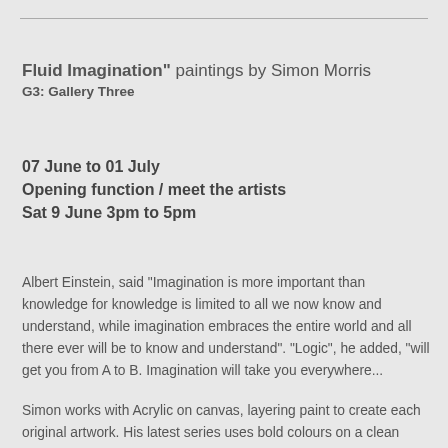Fluid Imagination" paintings by Simon Morris
G3: Gallery Three
07 June to 01 July
Opening function / meet the artists
Sat 9 June 3pm to 5pm
Albert Einstein, said "Imagination is more important than knowledge for knowledge is limited to all we now know and understand, while imagination embraces the entire world and all there ever will be to know and understand". "Logic", he added, "will get you from A to B. Imagination will take you everywhere...
Simon works with Acrylic on canvas, layering paint to create each original artwork. His latest series uses bold colours on a clean